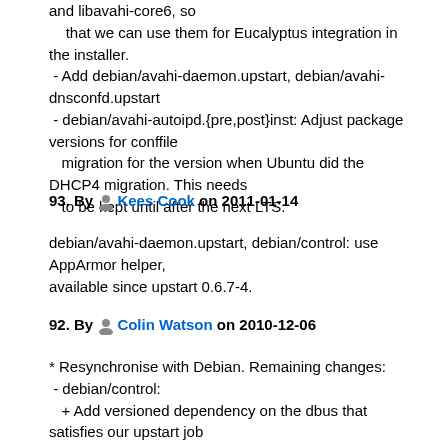and libavahi-core6, so
    that we can use them for Eucalyptus integration in the installer.
 - Add debian/avahi-daemon.upstart, debian/avahi-dnsconfd.upstart
 - debian/avahi-autoipd.{pre,post}inst: Adjust package versions for conffile
   migration for the version when Ubuntu did the DHCP4 migration. This needs
   to be kept until after the next LTS.
93. By Kees Cook on 2011-01-14
debian/avahi-daemon.upstart, debian/control: use AppArmor helper,
available since upstart 0.6.7-4.
92. By Colin Watson on 2010-12-06
* Resynchronise with Debian. Remaining changes:
 - debian/control:
   + Add versioned dependency on the dbus that satisfies our upstart job
     dependency.
   + Add udebs corresponding to libavahi-common3 and libavahi-core6, so
     that we can use them for Eucalyptus integration in the installer.